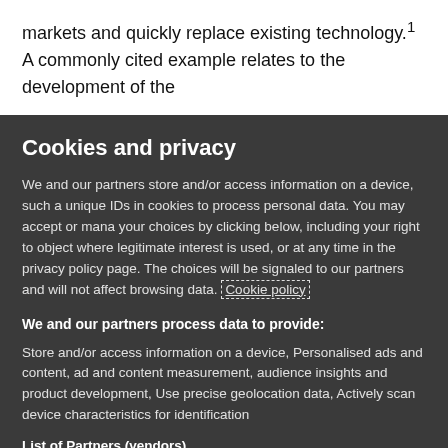markets and quickly replace existing technology.¹ A commonly cited example relates to the development of the
Cookies and privacy
We and our partners store and/or access information on a device, such as unique IDs in cookies to process personal data. You may accept or manage your choices by clicking below, including your right to object where legitimate interest is used, or at any time in the privacy policy page. These choices will be signaled to our partners and will not affect browsing data. Cookie policy
We and our partners process data to provide:
Store and/or access information on a device, Personalised ads and content, ad and content measurement, audience insights and product development, Use precise geolocation data, Actively scan device characteristics for identification
List of Partners (vendors)
I Accept